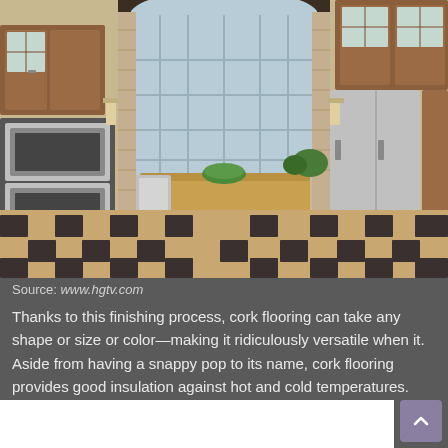[Figure (photo): A kitchen interior with cork tile flooring in a tan and dark gray checkerboard pattern. The kitchen features wooden cabinets, stainless steel appliances including double wall ovens, a refrigerator, and dishwasher, a center island with butcher block top and black chairs, large arched windows with natural light, and brick columns.]
Source: www.hgtv.com
Thanks to this finishing process, cork flooring can take any shape or size or color—making it ridiculously versatile when it. Aside from having a snappy pop to its name, cork flooring provides good insulation against hot and cold temperatures.